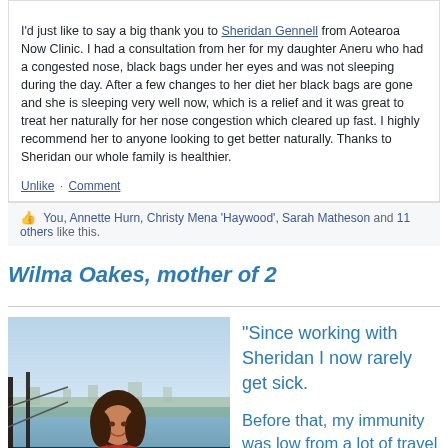I'd just like to say a big thank you to Sheridan Gennell from Aotearoa Now Clinic. I had a consultation from her for my daughter Aneru who had a congested nose, black bags under her eyes and was not sleeping during the day. After a few changes to her diet her black bags are gone and she is sleeping very well now, which is a relief and it was great to treat her naturally for her nose congestion which cleared up fast. I highly recommend her to anyone looking to get better naturally. Thanks to Sheridan our whole family is healthier.
Unlike · Comment
You, Annette Hurn, Christy Mena 'Haywood', Sarah Matheson and 11 others like this.
Wilma Oakes, mother of 2
[Figure (photo): A woman smiling, seated outdoors near water, with a harbour or cityscape in the background. She is wearing a red top.]
"Since working with Sheridan I now rarely get sick. Before that, my immunity was low from a lot of travel &